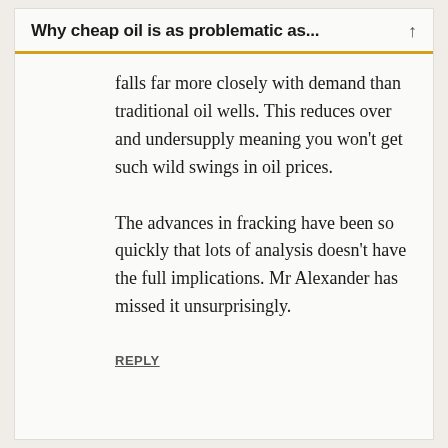Why cheap oil is as problematic as...
falls far more closely with demand than traditional oil wells. This reduces over and undersupply meaning you won't get such wild swings in oil prices.
The advances in fracking have been so quickly that lots of analysis doesn't have the full implications. Mr Alexander has missed it unsurprisingly.
REPLY